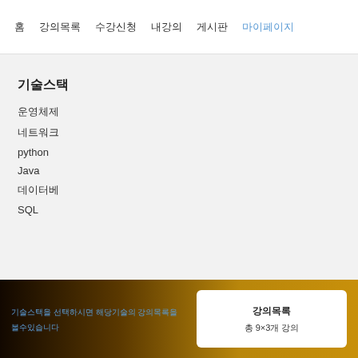홈 | 강의목록 | 수강신청 | 내강의 | 게시판 | 마이페이지
기술스택
운영체제
네트워크
python
Java
데이터베
SQL
기술스택을 선택하시면 해당기술의 강의목록을
총 9×3개 강의